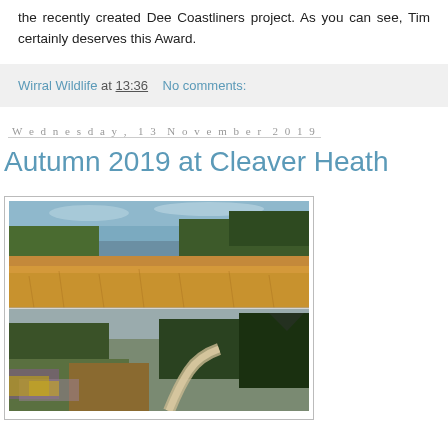the recently created Dee Coastliners project. As you can see, Tim certainly deserves this Award.
Wirral Wildlife at 13:36   No comments:
Wednesday, 13 November 2019
Autumn 2019 at Cleaver Heath
[Figure (photo): Two stacked landscape photographs of Cleaver Heath in autumn: top image shows golden-brown grassland with trees in background under blue sky; bottom image shows heathland vegetation with a winding path and dark evergreen trees.]